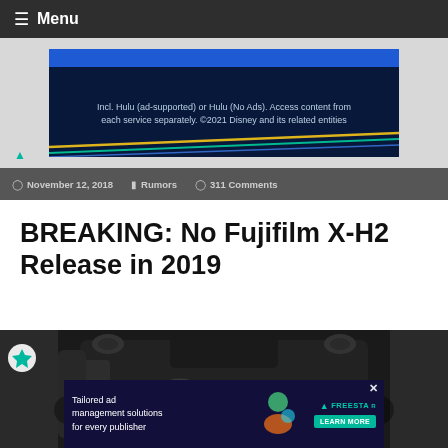≡ Menu
[Figure (screenshot): Disney+ / Hulu advertisement banner with dark blue background and colored diagonal lines. Text: 'Incl. Hulu (ad-supported) or Hulu (No Ads). Access content from each service separately. ©2021 Disney and its related entities']
November 12, 2018  Rumors  311 Comments
BREAKING: No Fujifilm X-H2 Release in 2019
[Figure (photo): Top-down view of a black Fujifilm X-H2 camera body showing the top controls, dials, and FUJIFILM X-H2 branding]
[Figure (screenshot): Bottom advertisement: 'Tailored ad management solutions for every publisher' with Freestar logo and LEARN MORE button. Colorful illustration on right side.]